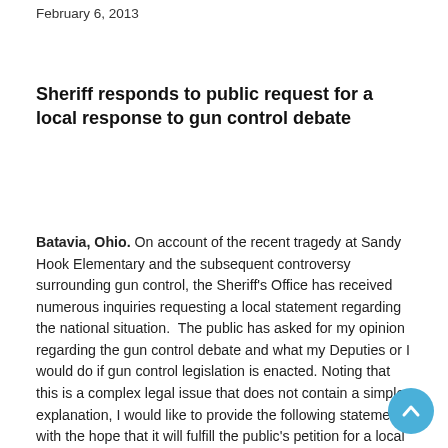February 6, 2013
Sheriff responds to public request for a local response to gun control debate
Batavia, Ohio. On account of the recent tragedy at Sandy Hook Elementary and the subsequent controversy surrounding gun control, the Sheriff's Office has received numerous inquiries requesting a local statement regarding the national situation.  The public has asked for my opinion regarding the gun control debate and what my Deputies or I would do if gun control legislation is enacted. Noting that this is a complex legal issue that does not contain a simple explanation, I would like to provide the following statement with the hope that it will fulfill the public's petition for a local response.